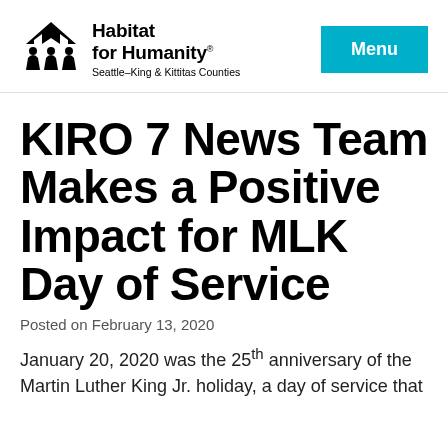[Figure (logo): Habitat for Humanity logo with house and people silhouette icon, text reading 'Habitat for Humanity® Seattle–King & Kittitas Counties']
Menu
KIRO 7 News Team Makes a Positive Impact for MLK Day of Service
Posted on February 13, 2020
January 20, 2020 was the 25th anniversary of the Martin Luther King Jr. holiday, a day of service that